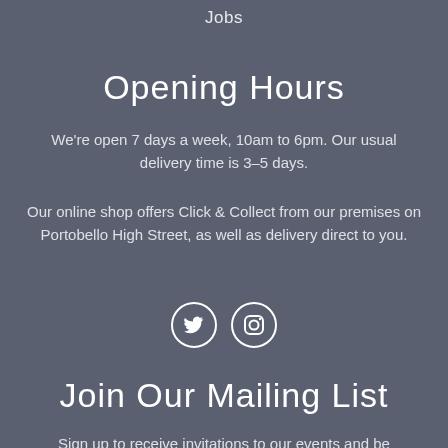Jobs
Opening Hours
We're open 7 days a week, 10am to 6pm. Our usual delivery time is 3–5 days.
Our online shop offers Click & Collect from our premises on Portobello High Street, as well as delivery direct to you.
[Figure (illustration): Twitter and Instagram social media icons in white circles]
Join Our Mailing List
Sign up to receive invitations to our events and be